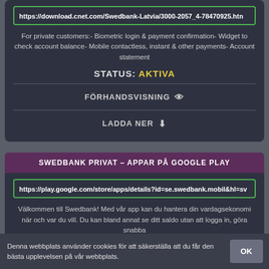https://download.cnet.com/Swedbank-Latvia/3000-2057_4-78470925.htn
For private customers:- Biometric login & payment confirmation- Widget to check account balance- Mobile contactless, instant & other payments- Account statement
STATUS: AKTIVA
FÖRHANDSVISNING
LADDA NER
SWEDBANK PRIVAT – APPAR PÅ GOOGLE PLAY
https://play.google.com/store/apps/details?id=se.swedbank.mobil&hl=sv
Välkommen till Swedbank! Med vår app kan du hantera din vardagsekonomi när och var du vill. Du kan bland annat se ditt saldo utan att logga in, göra snabba
Denna webbplats använder cookies för att säkerställa att du får den bästa upplevelsen på vår webbplats.